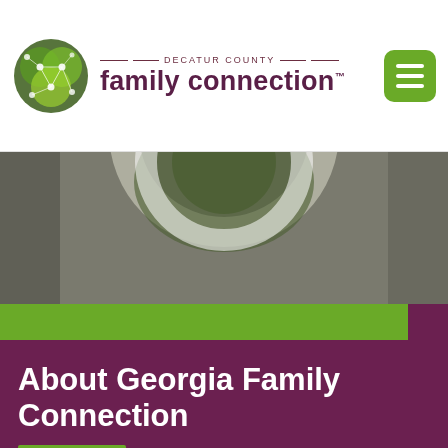[Figure (logo): Decatur County Family Connection logo with green interconnected nodes icon and text]
[Figure (photo): Partially visible banner image with dark olive/grey background and a white/light circular graphic element]
About Georgia Family Connection